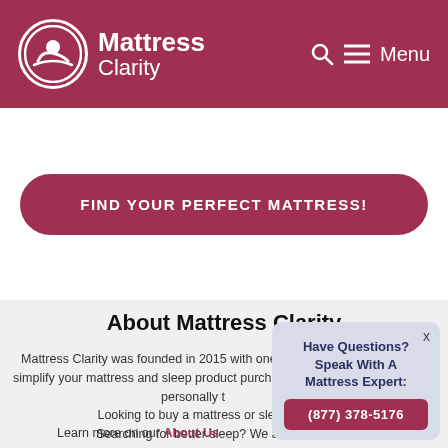Mattress Clarity — Menu
[Figure (logo): Mattress Clarity logo with circular icon showing a person sleeping, white on dark red background]
FIND YOUR PERFECT MATTRESS!
About Mattress Clarity
Mattress Clarity was founded in 2015 with one goal in mind: to simplify your mattress and sleep product purchase decisions with personally t[ested reviews]. Looking to buy a mattress or sleep [product?] Searching for better sleep? We are [here to help.]
Learn more on our About Us
Have Questions? Speak With A Mattress Expert: (877) 378-5176